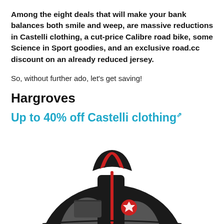Among the eight deals that will make your bank balances both smile and weep, are massive reductions in Castelli clothing, a cut-price Calibre road bike, some Science in Sport goodies, and an exclusive road.cc discount on an already reduced jersey.
So, without further ado, let's get saving!
Hargroves
Up to 40% off Castelli clothing
[Figure (photo): Photo of a black and red Castelli cycling jacket, showing the upper half of the garment with red collar and red zipper detail, grey chest panel, and Castelli logo badge.]